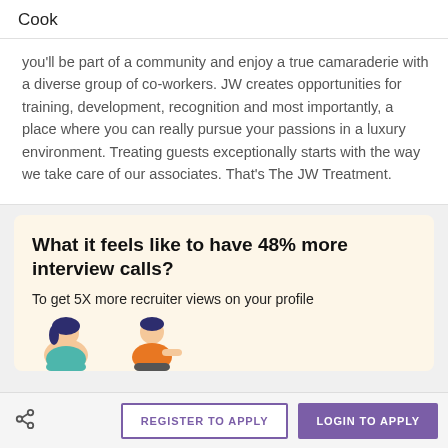Cook
you'll be part of a community and enjoy a true camaraderie with a diverse group of co-workers. JW creates opportunities for training, development, recognition and most importantly, a place where you can really pursue your passions in a luxury environment. Treating guests exceptionally starts with the way we take care of our associates. That's The JW Treatment.
What it feels like to have 48% more interview calls?
To get 5X more recruiter views on your profile
[Figure (illustration): Two illustrated figures: a person with dark hair sitting on the left and a person in an orange shirt sitting on the right, part of a promotional banner]
REGISTER TO APPLY
LOGIN TO APPLY